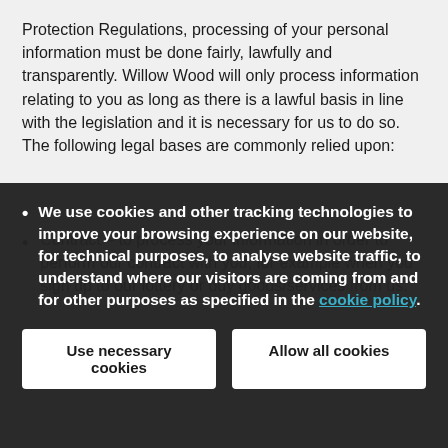Protection Regulations, processing of your personal information must be done fairly, lawfully and transparently. Willow Wood will only process information relating to you as long as there is a lawful basis in line with the legislation and it is necessary for us to do so. The following legal bases are commonly relied upon:
Contract – to process your information in order to perform our contract with you, for example when you sign up to our lottery or buy goods/services from us.
[Figure (other): Cookie consent overlay banner with dark background containing text: 'We use cookies and other tracking technologies to improve your browsing experience on our website, for technical purposes, to analyse website traffic, to understand where our visitors are coming from and for other purposes as specified in the cookie policy.' with two buttons: 'Use necessary cookies' and 'Allow all cookies']